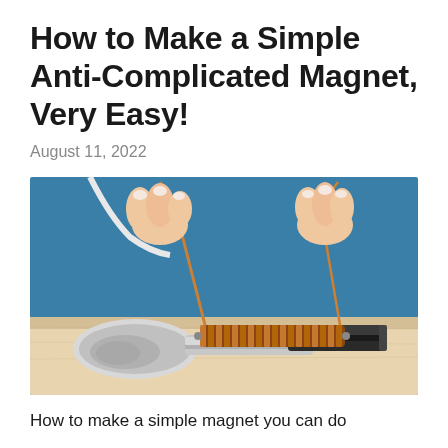How to Make a Simple Anti-Complicated Magnet, Very Easy!
August 11, 2022
[Figure (photo): Hands holding copper wire leads connected to a coiled copper electromagnet solenoid resting on a metal spoon and a black rectangular magnet on a light wooden surface, teal background]
How to make a simple magnet you can do